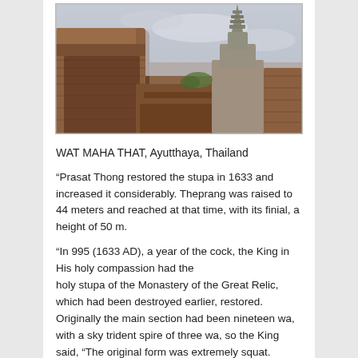[Figure (photo): Photograph of Wat Maha That ruins in Ayutthaya, Thailand. Shows ancient brick ruins and pagoda/stupa spire against a cloudy sky.]
WAT MAHA THAT, Ayutthaya, Thailand
“Prasat Thong restored the stupa in 1633 and increased it considerably. Theprang was raised to 44 meters and reached at that time, with its finial, a height of 50 m.
“In 995 (1633 AD), a year of the cock, the King in His holy compassion had the holy stupa of the Monastery of the Great Relic, which had been destroyed earlier, restored. Originally the main section had been nineteen wa, with a sky trident spire of three wa, so the King said, “The original form was extremely squat. Rebuild it so it is a sen and two wa high but retain the sky trident spire so that together they equal